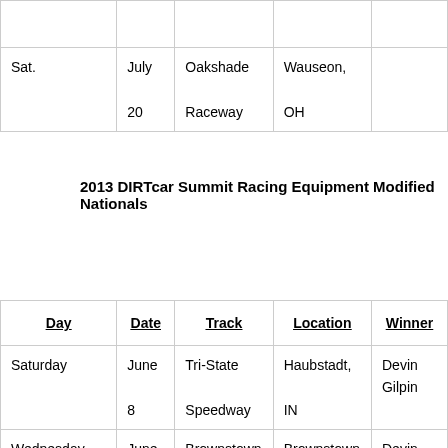| Day | Date | Track | Location | Winner |
| --- | --- | --- | --- | --- |
|  |  |  |  |  |
| Sat. | July

20 | Oakshade

Raceway | Wauseon,

OH |  |
2013 DIRTcar Summit Racing Equipment Modified Nationals
| Day | Date | Track | Location | Winner |
| --- | --- | --- | --- | --- |
| Saturday | June

8 | Tri-State

Speedway | Haubstadt,

IN | Devin Gilpin |
| Wednesday | June | Brownstown | Brownstown, | Devin Gilpin (2) |